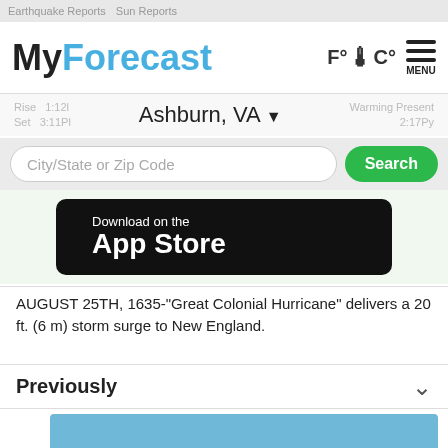Earthquake Reports  Sun Reports
MyForecast
F° 🌡 C°  MENU
Ashburn, VA ▼
Rise   Set   Warming Present
City/State or Zip Code   Search
[Figure (screenshot): Download on the App Store button with Apple logo on black background]
AUGUST 25TH, 1635-"Great Colonial Hurricane" delivers a 20 ft. (6 m) storm surge to New England.
Previously
Get Weather On Your Site
This site is made possible by CustomWeather's